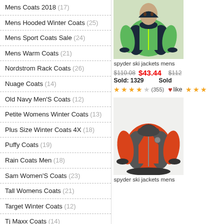Mens Coats 2018 (17)
Mens Hooded Winter Coats (25)
Mens Sport Coats Sale (24)
Mens Warm Coats (21)
Nordstrom Rack Coats (26)
Nuage Coats (14)
Old Navy Men'S Coats (12)
Petite Womens Winter Coats (13)
Plus Size Winter Coats 4X (18)
Puffy Coats (19)
Rain Coats Men (18)
Sam Women'S Coats (23)
Tall Womens Coats (21)
Target Winter Coats (12)
Tj Maxx Coats (14)
Walmart Mens Coats (27)
[Figure (photo): Green and navy spyder ski jacket worn by a person]
spyder ski jackets mens
$110.08  $43.44   Sold: 1329   ★★★★☆(355)   ❤like ★★★
[Figure (photo): Red and grey spyder ski jacket with hood]
spyder ski jackets mens